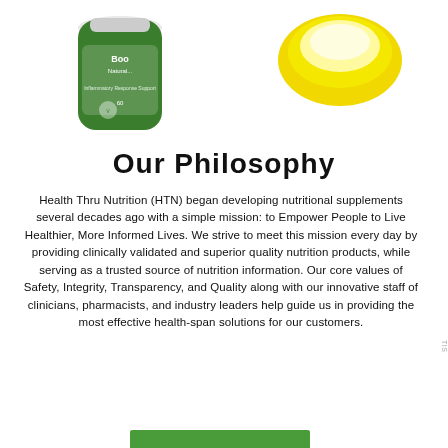[Figure (photo): Two supplement product images: a green labeled bottle (Boo... Natural... supplement) on the left, and a yellow circular container on the right, both partially cropped at the top of the page.]
Our Philosophy
Health Thru Nutrition (HTN) began developing nutritional supplements several decades ago with a simple mission: to Empower People to Live Healthier, More Informed Lives. We strive to meet this mission every day by providing clinically validated and superior quality nutrition products, while serving as a trusted source of nutrition information. Our core values of Safety, Integrity, Transparency, and Quality along with our innovative staff of clinicians, pharmacists, and industry leaders help guide us in providing the most effective health-span solutions for our customers.